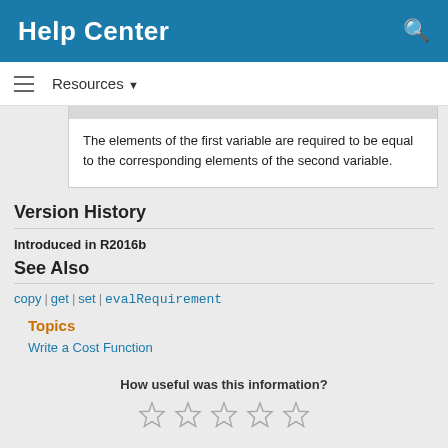Help Center
Resources ▾
The elements of the first variable are required to be equal to the corresponding elements of the second variable.
Version History
Introduced in R2016b
See Also
copy | get | set | evalRequirement
Topics
Write a Cost Function
How useful was this information?